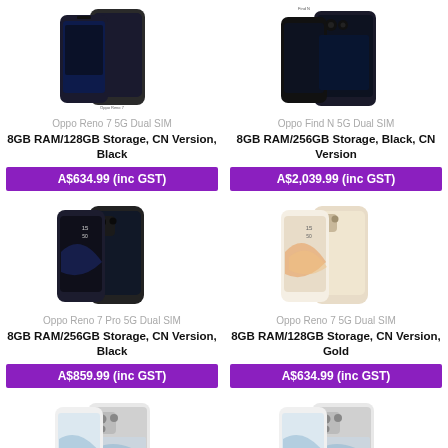[Figure (photo): Oppo Reno 7 5G Dual SIM phone product image, black color]
Oppo Reno 7 5G Dual SIM
8GB RAM/128GB Storage, CN Version, Black
A$634.99 (inc GST)
[Figure (photo): Oppo Find N 5G Dual SIM phone product image, black color]
Oppo Find N 5G Dual SIM
8GB RAM/256GB Storage, Black, CN Version
A$2,039.99 (inc GST)
[Figure (photo): Oppo Reno 7 Pro 5G Dual SIM phone product image, black color]
Oppo Reno 7 Pro 5G Dual SIM
8GB RAM/256GB Storage, CN Version, Black
A$859.99 (inc GST)
[Figure (photo): Oppo Reno 7 5G Dual SIM phone product image, gold color]
Oppo Reno 7 5G Dual SIM
8GB RAM/128GB Storage, CN Version, Gold
A$634.99 (inc GST)
[Figure (photo): Oppo Find N 5G Dual SIM phone product image, white color]
Oppo Find N 5G Dual SIM
12GB RAM/256GB Storage...
[Figure (photo): Oppo Find N 5G Dual SIM phone product image, white color]
Oppo Find N 5G Dual SIM
8GB RAM/256GB Storage...